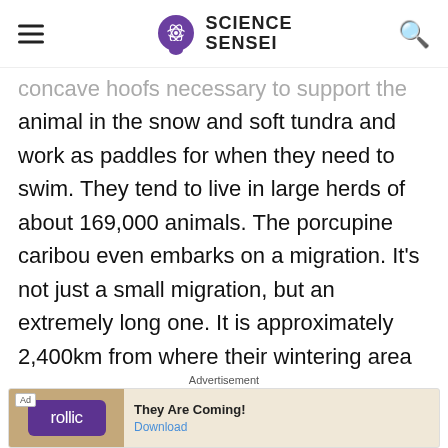SCIENCE SENSEI
concave hoofs necessary to support the animal in the snow and soft tundra and work as paddles for when they need to swim. They tend to live in large herds of about 169,000 animals. The porcupine caribou even embarks on a migration. It's not just a small migration, but an extremely long one. It is approximately 2,400km from where their wintering area is to their
Advertisement